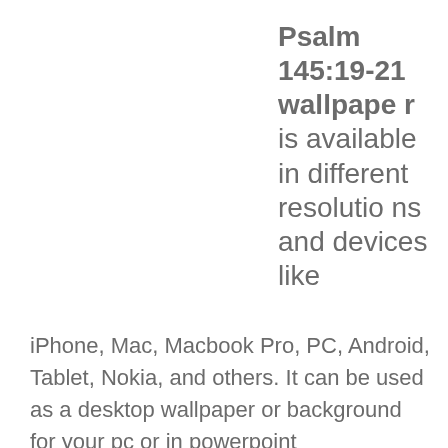Psalm 145:19-21 wallpaper is available in different resolutions and devices like iPhone, Mac, Macbook Pro, PC, Android, Tablet, Nokia, and others. It can be used as a desktop wallpaper or background for your pc or in powerpoint presentations in your christian church sermons or in your music software